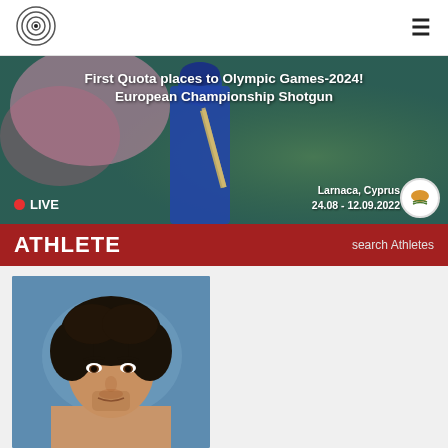[Figure (logo): Shooting target/bullseye logo icon in top left]
[Figure (photo): Banner image: shooter athlete from behind with shotgun, pink bokeh background. Text overlay: First Quota places to Olympic Games-2024! European Championship Shotgun. Larnaca, Cyprus 24.08 - 12.09.2022. LIVE badge bottom left. Cyprus flag circle bottom right.]
ATHLETE
search Athletes
[Figure (photo): Headshot photo of a young male athlete with dark curly hair against a blue background.]